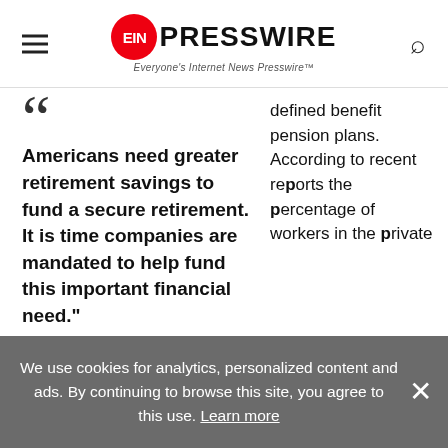EINPresswire — Everyone's Internet News Presswire
"Americans need greater retirement savings to fund a secure retirement. It is time companies are mandated to help fund this important financial need." — Harry N. Stout
defined benefit pension plans. According to recent reports the percentage of workers in the private
We use cookies for analytics, personalized content and ads. By continuing to browse this site, you agree to this use. Learn more